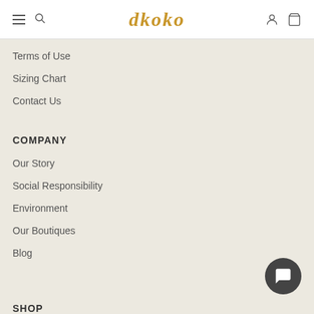dkoko
Terms of Use
Sizing Chart
Contact Us
COMPANY
Our Story
Social Responsibility
Environment
Our Boutiques
Blog
SHOP